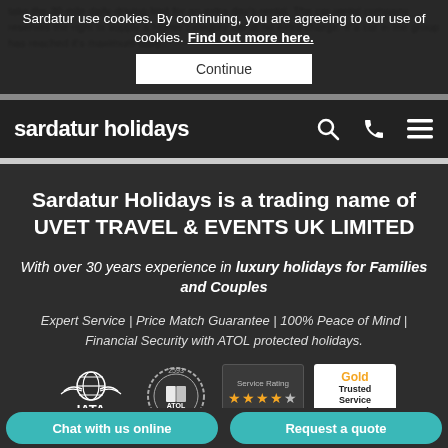Sardatur use cookies. By continuing, you are agreeing to our use of cookies. Find out more here.
Continue
sardatur holidays
Sardatur Holidays is a trading name of UVET TRAVEL & EVENTS UK LIMITED
With over 30 years experience in luxury holidays for Families and Couples
Expert Service | Price Match Guarantee | 100% Peace of Mind | Financial Security with ATOL protected holidays.
[Figure (logo): IATA accredited logo with globe and wings]
[Figure (logo): ATOL 2593 protected circular badge]
[Figure (infographic): Service Rating with 4.5 stars and 636 reviews]
[Figure (logo): Gold Trusted Service Award badge with stars]
Chat with us online
Request a quote